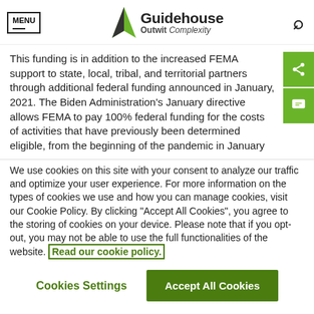MENU | Guidehouse Outwit Complexity
This funding is in addition to the increased FEMA support to state, local, tribal, and territorial partners through additional federal funding announced in January, 2021. The Biden Administration's January directive allows FEMA to pay 100% federal funding for the costs of activities that have previously been determined eligible, from the beginning of the pandemic in January
We use cookies on this site with your consent to analyze our traffic and optimize your user experience. For more information on the types of cookies we use and how you can manage cookies, visit our Cookie Policy. By clicking "Accept All Cookies", you agree to the storing of cookies on your device. Please note that if you opt-out, you may not be able to use the full functionalities of the website. Read our cookie policy.
Cookies Settings | Accept All Cookies